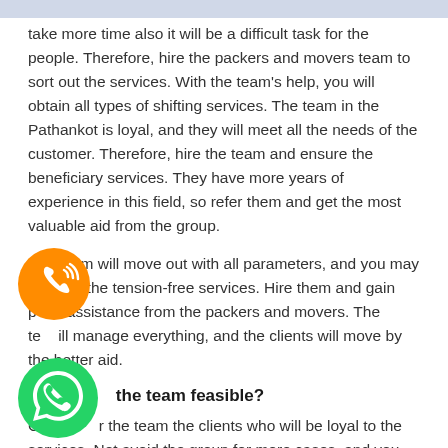take more time also it will be a difficult task for the people. Therefore, hire the packers and movers team to sort out the services. With the team's help, you will obtain all types of shifting services. The team in the Pathankot is loyal, and they will meet all the needs of the customer. Therefore, hire the team and ensure the beneficiary services. They have more years of experience in this field, so refer them and get the most valuable aid from the group.
The team will move out with all parameters, and you may drive by the tension-free services. Hire them and gain p assistance from the packers and movers. The te will manage everything, and the clients will move by the better aid.
H the team feasible?
C r the team the clients who will be loyal to the services. Not avoid the group for more cases, and you may